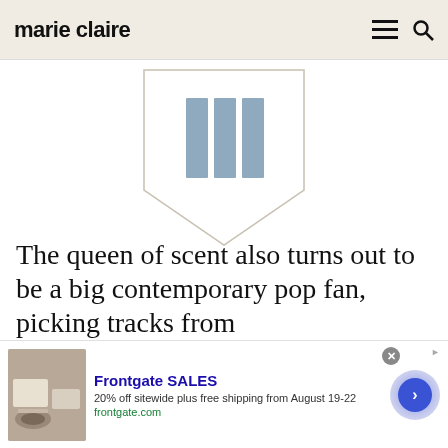marie claire
[Figure (logo): Marie Claire badge/award logo — a downward-pointing pentagon shield outline containing three vertical rectangular bars in steel blue, on a white background]
The queen of scent also turns out to be a big contemporary pop fan, picking tracks from
[Figure (screenshot): Frontgate advertisement banner: image of patio furniture with fire pit, headline 'Frontgate SALES', body '20% off sitewide plus free shipping from August 19-22', URL 'frontgate.com', with a blue circular CTA arrow button]